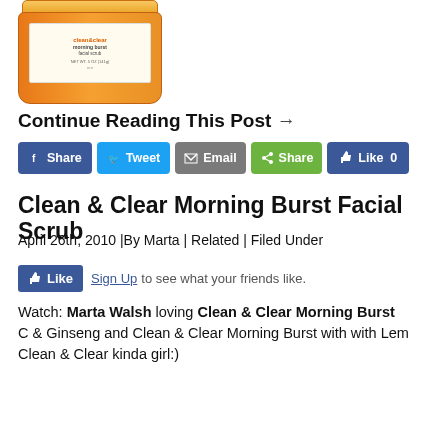[Figure (photo): Partial product photo of a Clean & Clear Morning Burst facial scrub jar, orange colored container, cut off at top of page]
Continue Reading This Post →
[Figure (infographic): Social sharing buttons: Facebook Share, Tweet, Email, Share, Like 0]
Clean & Clear Morning Burst Facial Scrub
April 26th, 2010 |By Marta | Related | Filed Under
[Figure (infographic): Facebook Like button with Sign Up link and 'to see what your friends like.' text]
Watch: Marta Walsh loving Clean & Clear Morning Burst C & Ginseng and Clean & Clear Morning Burst with with Lem Clean & Clear kinda girl:)